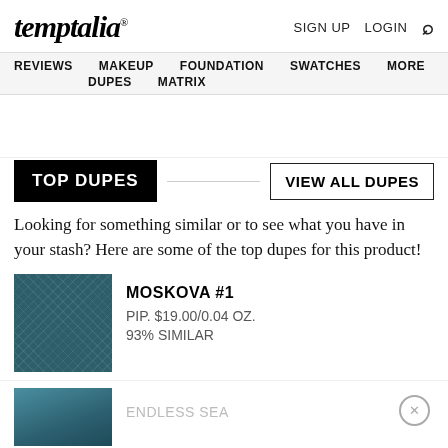temptalia® | SIGN UP | LOGIN | 🔍
REVIEWS  MAKEUP  FOUNDATION  SWATCHES  MORE  DUPES  MATRIX
TOP DUPES  VIEW ALL DUPES
Looking for something similar or to see what you have in your stash? Here are some of the top dupes for this product!
MOSKOVA #1  PIP. $19.00/0.04 OZ.  93% SIMILAR
ENDLESS SEA